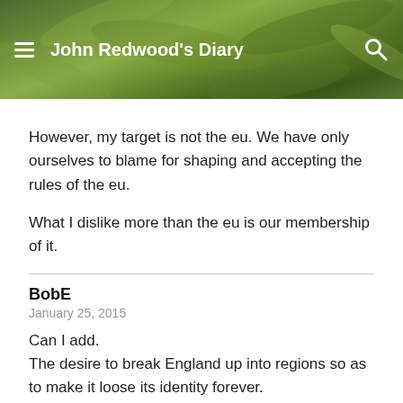John Redwood's Diary
However, my target is not the eu. We have only ourselves to blame for shaping and accepting the rules of the eu.
What I dislike more than the eu is our membership of it.
BobE
January 25, 2015
Can I add.
The desire to break England up into regions so as to make it loose its identity forever.